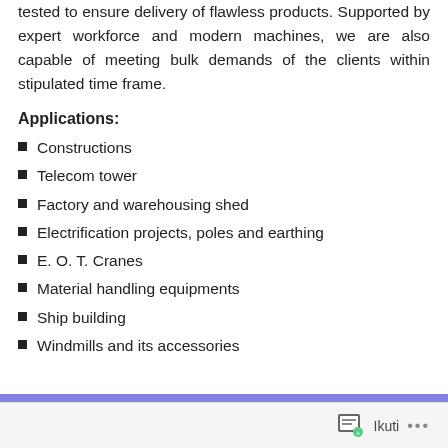tested to ensure delivery of flawless products. Supported by expert workforce and modern machines, we are also capable of meeting bulk demands of the clients within stipulated time frame.
Applications:
Constructions
Telecom tower
Factory and warehousing shed
Electrification projects, poles and earthing
E. O. T. Cranes
Material handling equipments
Ship building
Windmills and its accessories
Ikuti ...